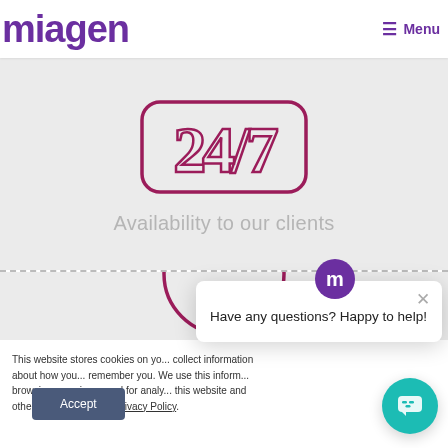miagen | Menu
[Figure (illustration): Handwritten-style '24/7' in a rounded rectangle outline, in dark pink/magenta color]
Availability to our clients
[Figure (illustration): Partial magenta circle (half circle) visible below dashed divider]
This website stores cookies on yo... collect information about how you... remember you. We use this inform... browsing experience and for analy... this website and other media. To f... our Privacy Policy.
[Figure (other): Chat popup with purple 'm' avatar icon and text: Have any questions? Happy to help! with close X button]
[Figure (other): Teal circular chat widget button with speech bubble icon]